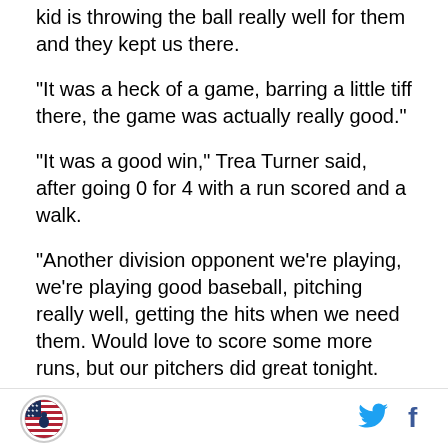kid is throwing the ball really well for them and they kept us there.
“It was a heck of a game, barring a little tiff there, the game was actually really good.”
“It was a good win,” Trea Turner said, after going 0 for 4 with a run scored and a walk.
“Another division opponent we’re playing, we’re playing good baseball, pitching really well, getting the hits when we need them. Would love to score some more runs, but our pitchers did great tonight.
“Max did great, Austin [Voth] did great. And the other
[Figure (logo): Circular logo with American flag and figure motif]
[Figure (logo): Twitter bird icon in blue]
[Figure (logo): Facebook f icon in dark blue]